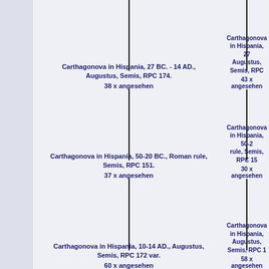Carthagonova in Hispania, 27 BC. - 14 AD., Augustus, Semis, RPC 174.
38 x angesehen
Carthagonova in Hispania, 27 BC. - 14 AD., Augustus, Semis, RPC ...
43 x angesehen
Carthagonova in Hispania, 50-20 BC., Roman rule, Semis, RPC 151.
37 x angesehen
Carthagonova in Hispania, 50-20 BC., Roman rule, Semis, RPC 15...
30 x angesehen
Carthagonova in Hispania, 10-14 AD., Augustus, Semis, RPC 172 var.
60 x angesehen
Carthagonova in Hispania, Augustus, Semis, RPC 1...
58 x angesehen